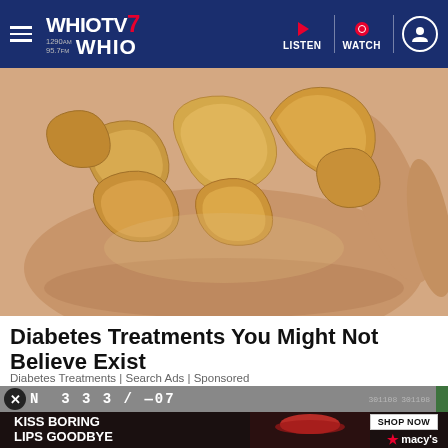WHIOTV7 1290AM 95.7FM WHIO | LISTEN | WATCH
[Figure (photo): A hand holding a pile of cashew nuts against a light background]
Diabetes Treatments You Might Not Believe Exist
Diabetes Treatments | Search Ads | Sponsored
[Figure (photo): Advertisement banner: top row shows a close-up of a person's face with text 'N 3 3 3 / -- 0 7' and dollar bills. Bottom row shows a woman with red lipstick. Text reads 'KISS BORING LIPS GOODBYE' with 'SHOP NOW' button and Macy's star logo.]